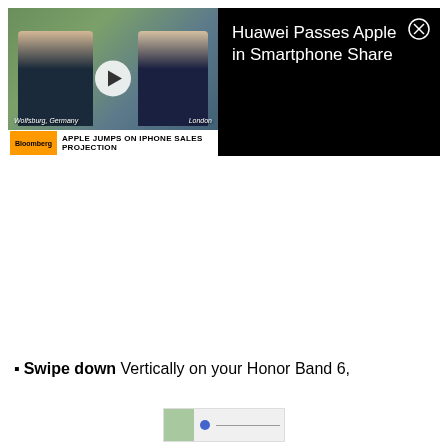[Figure (screenshot): Bloomberg video thumbnail showing two men in suits with 'Wolfsburg, Germany' and 'London' location labels, a play button in the center, and a ticker bar reading 'APPLE JUMPS ON IPHONE SALES PROJECTION'. Next to the thumbnail is a black panel with the video title 'Huawei Passes Apple in Smartphone Share' and a close (X) button.]
Swipe down Vertically on your Honor Band 6,
[Figure (screenshot): Small thumbnail image at the bottom of the page, partially visible, showing a blue circle element and a horizontal line.]